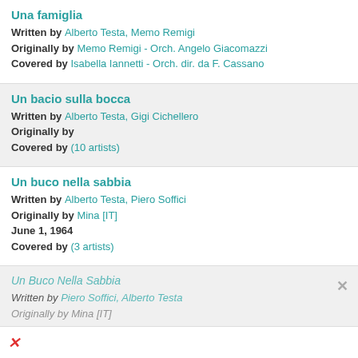Una famiglia
Written by Alberto Testa, Memo Remigi
Originally by Memo Remigi - Orch. Angelo Giacomazzi
Covered by Isabella Iannetti - Orch. dir. da F. Cassano
Un bacio sulla bocca
Written by Alberto Testa, Gigi Cichellero
Originally by
Covered by (10 artists)
Un buco nella sabbia
Written by Alberto Testa, Piero Soffici
Originally by Mina [IT]
June 1, 1964
Covered by (3 artists)
Un Buco Nella Sabbia
Written by Piero Soffici, Alberto Testa
Originally by Mina [IT]